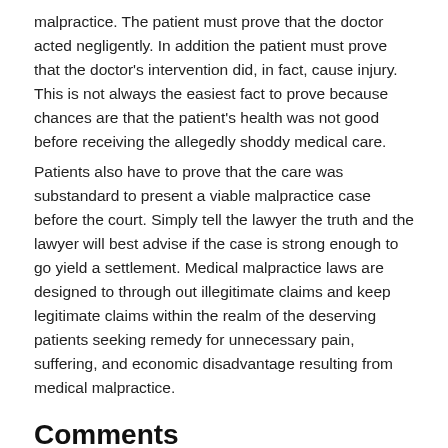malpractice. The patient must prove that the doctor acted negligently. In addition the patient must prove that the doctor's intervention did, in fact, cause injury. This is not always the easiest fact to prove because chances are that the patient's health was not good before receiving the allegedly shoddy medical care.
Patients also have to prove that the care was substandard to present a viable malpractice case before the court. Simply tell the lawyer the truth and the lawyer will best advise if the case is strong enough to go yield a settlement. Medical malpractice laws are designed to through out illegitimate claims and keep legitimate claims within the realm of the deserving patients seeking remedy for unnecessary pain, suffering, and economic disadvantage resulting from medical malpractice.
Comments
comments